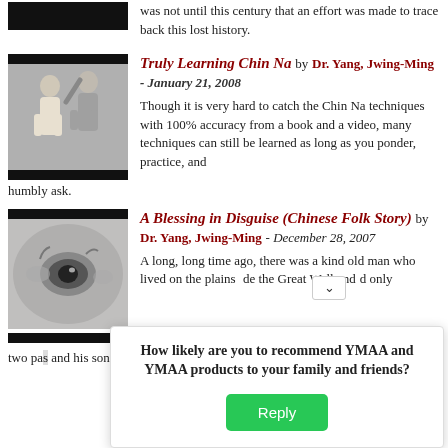was not until this century that an effort was made to trace back this lost history.
[Figure (photo): Black bar with redacted image placeholder at top left]
Truly Learning Chin Na by Dr. Yang, Jwing-Ming - January 21, 2008
[Figure (photo): Two people practicing Chin Na martial arts techniques]
Though it is very hard to catch the Chin Na techniques with 100% accuracy from a book and a video, many techniques can still be learned as long as you ponder, practice, and humbly ask.
[Figure (photo): Close-up of a horse eye, gray/white horse]
A Blessing in Disguise (Chinese Folk Story) by Dr. Yang, Jwing-Ming - December 28, 2007
A long, long time ago, there was a kind old man who lived on the plains side the Great Wall and had only two pa... and his son, wh...
How likely are you to recommend YMAA and YMAA products to your family and friends?
Reply